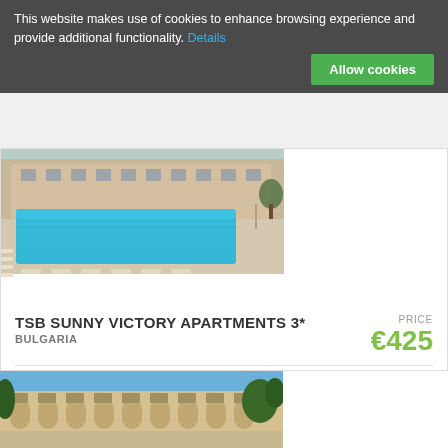This website makes use of cookies to enhance browsing experience and provide additional functionality. Details
Allow cookies
[Figure (photo): Hotel outdoor swimming pool with sun loungers and resort building in background]
TSB SUNNY VICTORY APARTMENTS 3*
BULGARIA
PRICE €425
★★★
7 nights, Studio, Per person in DBL, RO
More info
Order
[Figure (photo): Hotel building exterior with balconies and trees]